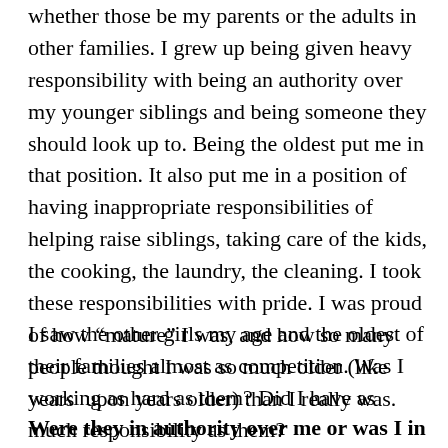whether those be my parents or the adults in other families. I grew up being given heavy responsibility with being an authority over my younger siblings and being someone they should look up to. Being the oldest put me in that position. It also put me in a position of having inappropriate responsibilities of helping raise siblings, taking care of the kids, the cooking, the laundry, the cleaning. I took these responsibilities with pride. I was proud of how “mature” I was, and how so many people thought I was so much older (like years  upon years older) than I really was.
I saw the other girls my age and the oldest of their families almost as competition. Was I working as hard as them? Did I have as much responsibility as them?
Were they in authority over me or was I in authority